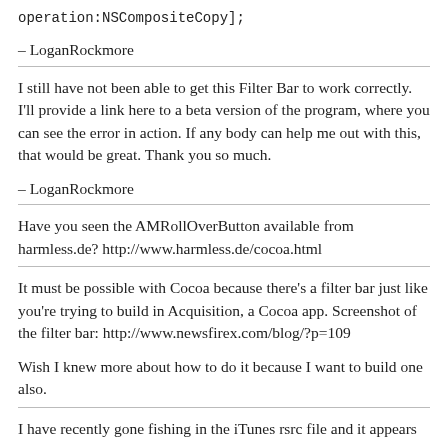operation:NSCompositeCopy];
– LoganRockmore
I still have not been able to get this Filter Bar to work correctly. I'll provide a link here to a beta version of the program, where you can see the error in action. If any body can help me out with this, that would be great. Thank you so much.
– LoganRockmore
Have you seen the AMRollOverButton available from harmless.de? http://www.harmless.de/cocoa.html
It must be possible with Cocoa because there's a filter bar just like you're trying to build in Acquisition, a Cocoa app. Screenshot of the filter bar: http://www.newsfirex.com/blog/?p=109

Wish I knew more about how to do it because I want to build one also.
I have recently gone fishing in the iTunes rsrc file and it appears